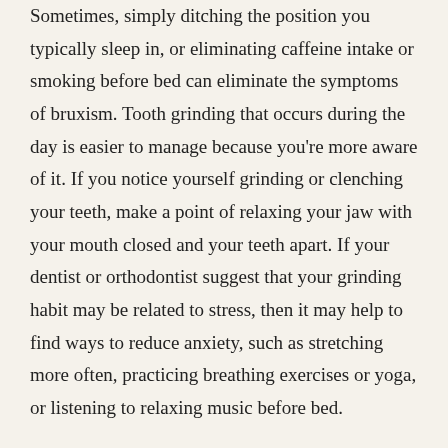Sometimes, simply ditching the position you typically sleep in, or eliminating caffeine intake or smoking before bed can eliminate the symptoms of bruxism. Tooth grinding that occurs during the day is easier to manage because you're more aware of it. If you notice yourself grinding or clenching your teeth, make a point of relaxing your jaw with your mouth closed and your teeth apart. If your dentist or orthodontist suggest that your grinding habit may be related to stress, then it may help to find ways to reduce anxiety, such as stretching more often, practicing breathing exercises or yoga, or listening to relaxing music before bed.
If you're concerned about damage to your teeth or jaw muscles caused by bruxism, contact Pavlik Orthodontics today to set up a free consultation! Reach us at (352) 376-5055.